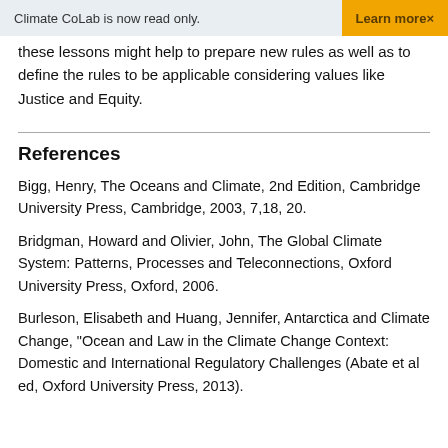Climate CoLab is now read only.   Learn more×
these lessons might help to prepare new rules as well as to define the rules to be applicable considering values like Justice and Equity.
References
Bigg, Henry, The Oceans and Climate, 2nd Edition, Cambridge University Press, Cambridge, 2003, 7,18, 20.
Bridgman, Howard and Olivier, John, The Global Climate System: Patterns, Processes and Teleconnections, Oxford University Press, Oxford, 2006.
Burleson, Elisabeth and Huang, Jennifer, Antarctica and Climate Change, "Ocean and Law in the Climate Change Context: Domestic and International Regulatory Challenges (Abate et al ed, Oxford University Press, 2013).